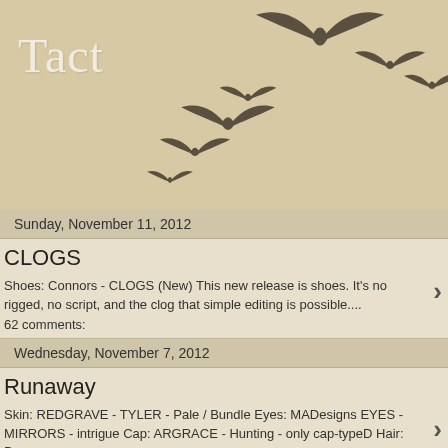[Figure (illustration): Beige/tan header banner with silhouettes of birds in flight arranged in a loose flock formation]
Tact
Sunday, November 11, 2012
CLOGS
Shoes: Connors - CLOGS (New) This new release is shoes. It's no rigged, no script, and the clog that simple editing is possible....
62 comments:
Wednesday, November 7, 2012
Runaway
Skin: REDGRAVE - TYLER - Pale / Bundle Eyes: MADesigns EYES - MIRRORS - intrigue Cap: ARGRACE - Hunting - only cap-typeD Hair: Dura-...
1 comment:
Tuesday, November 6, 2012
Deep Inside
Skin: REDGRAVE - TYLER - Pale / Bundle Hair: REDGRAVE...